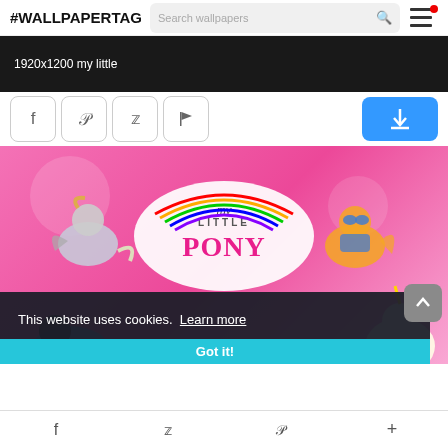#WALLPAPERTAG  Search wallpapers
[Figure (screenshot): Black image strip showing text '1920x1200 my little']
1920x1200 my little
[Figure (screenshot): Social sharing buttons: Facebook, Pinterest, Twitter, Flag, and a blue download button]
[Figure (photo): My Little Pony wallpaper with pink background showing cartoon ponies including Derpy, Spitfire, and Princess Celestia, with 'my little PONY' logo]
This website uses cookies.  Learn more
Got it!
Facebook  Twitter  Pinterest  +